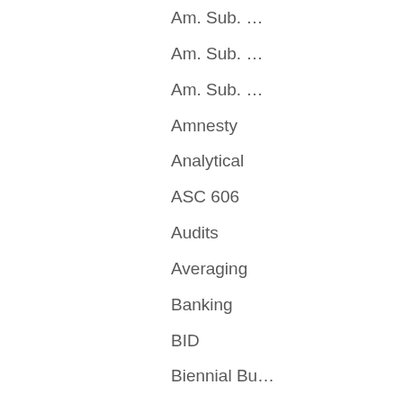Am. Sub. …
Am. Sub. …
Am. Sub. …
Amnesty
Analytical
ASC 606
Audits
Averaging
Banking
BID
Biennial Bu…
bill
Billboard Tax
board of ed…
board of ta…